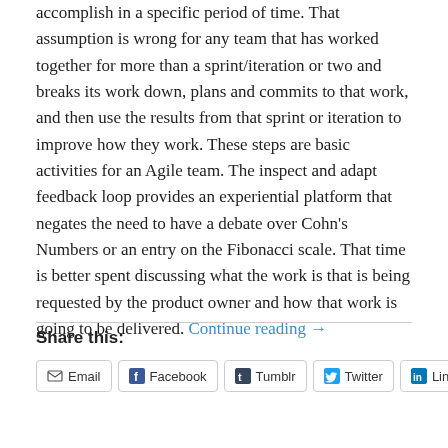accomplish in a specific period of time. That assumption is wrong for any team that has worked together for more than a sprint/iteration or two and breaks its work down, plans and commits to that work, and then use the results from that sprint or iteration to improve how they work. These steps are basic activities for an Agile team. The inspect and adapt feedback loop provides an experiential platform that negates the need to have a debate over Cohn's Numbers or an entry on the Fibonacci scale. That time is better spent discussing what the work is that is being requested by the product owner and how that work is going to be delivered. Continue reading →
Share this:
Email
Facebook
Tumblr
Twitter
LinkedIn